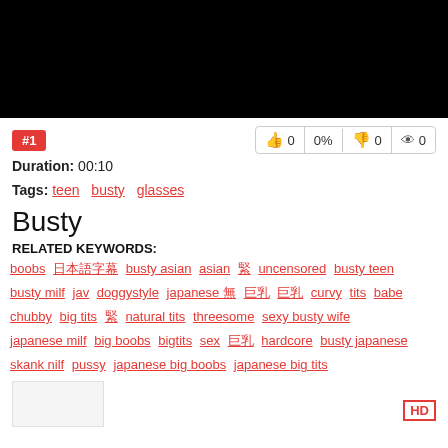[Figure (photo): Black video thumbnail area]
#1
👍 0   0%   👎 0   👁 0
Duration: 00:10
Tags: teen  busty  glasses
Busty
RELATED KEYWORDS:
boobs  日本語字幕  busty asian  asian  緊  uncensored  busty teen  busty milf  jav  doggystyle  japanese 無  巨乳  巨乳  curvy  tits  babe  chubby  big tits  緊  natural tits  threesome  sexy busty wife  japanese milf  big boobs  bigtits  sex  巨乳  hardcore  busty japanese  skank nilf  pussy  japanese big boobs  japanese big tits